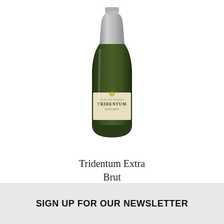[Figure (photo): A tall champagne/sparkling wine bottle with a silver foil cap and a cream/beige label reading TRIDENTUM, centered on a white background]
Tridentum Extra Brut
$80.00
SIGN UP FOR OUR NEWSLETTER